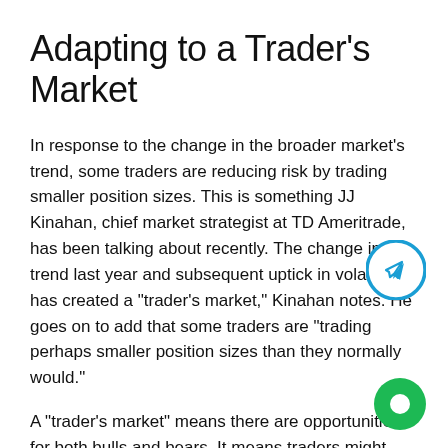Adapting to a Trader's Market
In response to the change in the broader market's trend, some traders are reducing risk by trading smaller position sizes. This is something JJ Kinahan, chief market strategist at TD Ameritrade, has been talking about recently. The change in trend last year and subsequent uptick in volatility has created a “trader’s market,” Kinahan notes. He goes on to add that some traders are “trading perhaps smaller position sizes than they normally would.”
A “trader’s market” means there are opportunities for both bulls and bears. It means traders might consider making friends with the bears after all these years.
So, what are some bear-friendly trading approaches